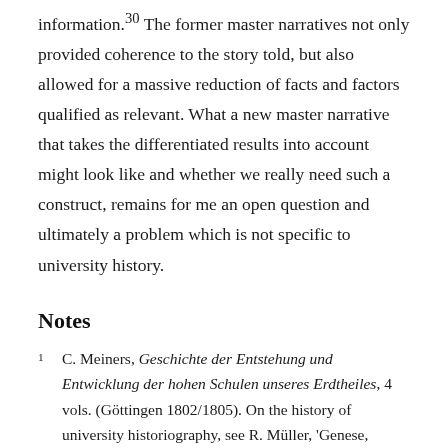information.30 The former master narratives not only provided coherence to the story told, but also allowed for a massive reduction of facts and factors qualified as relevant. What a new master narrative that takes the differentiated results into account might look like and whether we really need such a construct, remains for me an open question and ultimately a problem which is not specific to university history.
Notes
1 C. Meiners, Geschichte der Entstehung und Entwicklung der hohen Schulen unseres Erdtheiles, 4 vols. (Göttingen 1802/1805). On the history of university historiography, see R. Müller, 'Genese, Methoden und